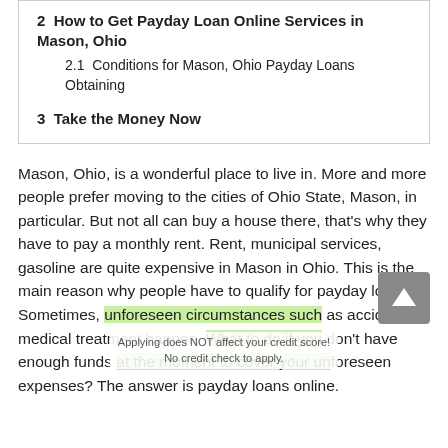2  How to Get Payday Loan Online Services in Mason, Ohio
2.1  Conditions for Mason, Ohio Payday Loans Obtaining
3  Take the Money Now
Mason, Ohio, is a wonderful place to live in. More and more people prefer moving to the cities of Ohio State, Mason, in particular. But not all can buy a house there, that's why they have to pay a monthly rent. Rent, municipal services, gasoline are quite expensive in Mason in Ohio. This is the main reason why people have to qualify for payday loans. Sometimes, unforeseen circumstances such as accidents, medical treatment happen. What to do if you don't have enough funds at the moment to cover your unforeseen expenses? The answer is payday loans online.